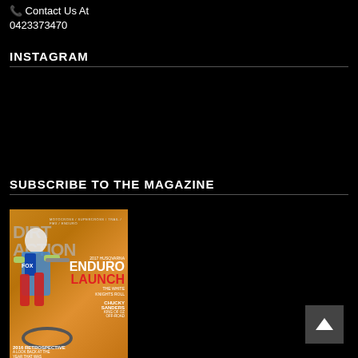☎ Contact Us At
0423373470
INSTAGRAM
SUBSCRIBE TO THE MAGAZINE
[Figure (photo): Cover of Dirt Action magazine featuring a motocross rider. Text reads: MOTOCROSS / SUPERCROSS / TRAIL / FMX / ENDURO, DIRTACTION, 2017 HUSQVARNA ENDURO LAUNCH, THE WHITE KNIGHTS ROLL, CHUCKY SANDERS KING OF OZ OFF-ROAD, 2016 RETROSPECTIVE A LOOK BACK AT THE YEAR THAT WAS]